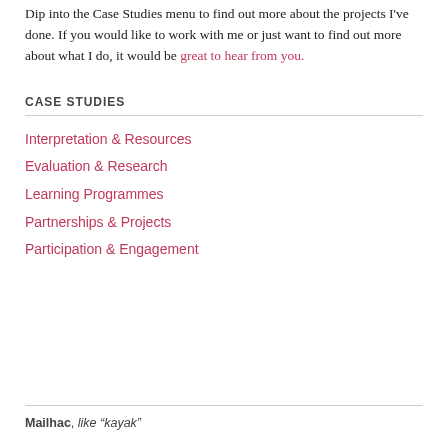Dip into the Case Studies menu to find out more about the projects I've done. If you would like to work with me or just want to find out more about what I do, it would be great to hear from you.
CASE STUDIES
Interpretation & Resources
Evaluation & Research
Learning Programmes
Partnerships & Projects
Participation & Engagement
Mailhac, like “kayak”